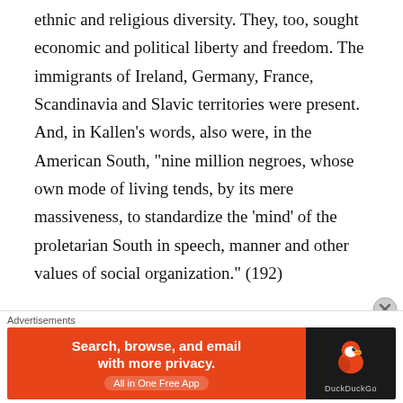diminution with European immigration. This resulted in ethnic and religious diversity. They, too, sought economic and political liberty and freedom. The immigrants of Ireland, Germany, France, Scandinavia and Slavic territories were present. And, in Kallen’s words, also were, in the American South, “nine million negroes, whose own mode of living tends, by its mere massiveness, to standardize the ‘mind’ of the proletarian South in speech, manner and other values of social organization.” (192)
All residents, suggests Kallen, are “Americanized” over a period of six to seven years. (192) For, those present during each historical moment in are a picture of
[Figure (other): DuckDuckGo advertisement banner: orange background with text 'Search, browse, and email with more privacy. All in One Free App' and DuckDuckGo duck logo on dark background.]